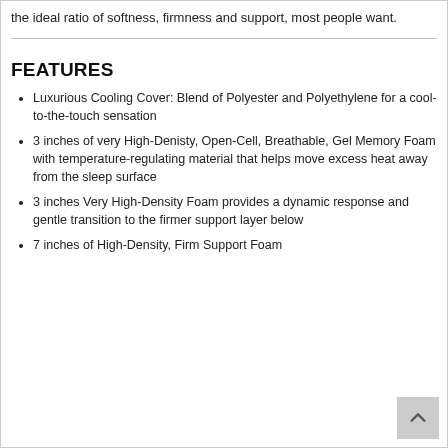the ideal ratio of softness, firmness and support, most people want.
FEATURES
Luxurious Cooling Cover: Blend of Polyester and Polyethylene for a cool-to-the-touch sensation
3 inches of very High-Denisty, Open-Cell, Breathable, Gel Memory Foam with temperature-regulating material that helps move excess heat away from the sleep surface
3 inches Very High-Density Foam provides a dynamic response and gentle transition to the firmer support layer below
7 inches of High-Density, Firm Support Foam